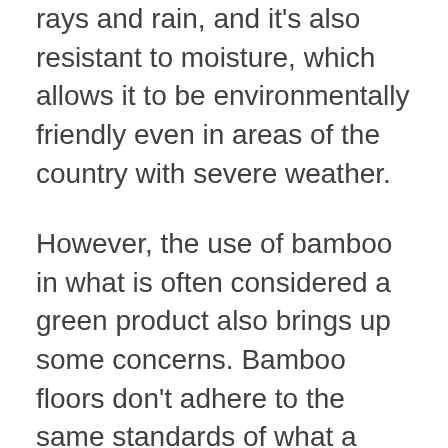rays and rain, and it's also resistant to moisture, which allows it to be environmentally friendly even in areas of the country with severe weather.
However, the use of bamboo in what is often considered a green product also brings up some concerns. Bamboo floors don't adhere to the same standards of what a hardwood floor should be. The bamboo's warp pattern is much more random and varies across the board, which can cause it to shift and bend when walked on. This irregularity also makes it more difficult to install, and in some cases, it leads to the